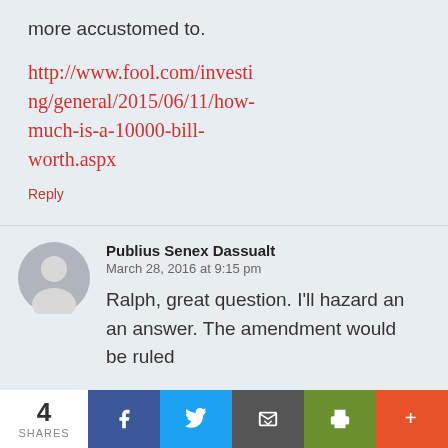more accustomed to.
http://www.fool.com/investing/general/2015/06/11/how-much-is-a-10000-bill-worth.aspx
Reply
Publius Senex Dassualt
March 28, 2016 at 9:15 pm
Ralph, great question. I'll hazard an an answer. The amendment would be ruled
4 SHARES